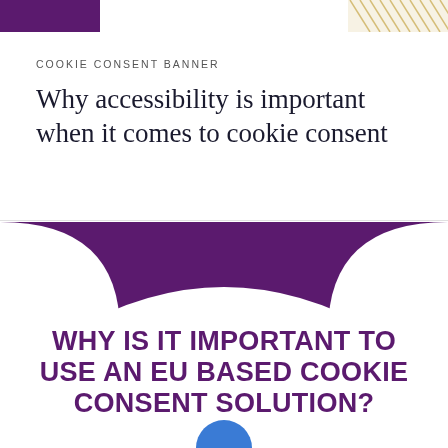[Figure (illustration): Top decorative banner with purple/dark strip on left and diagonal golden/yellow hash pattern on top-right corner]
COOKIE CONSENT BANNER
Why accessibility is important when it comes to cookie consent
[Figure (illustration): Purple decorative panel with curved/scalloped cutouts at top-left and top-right corners forming a white arch shape in the middle, with partial blue circular element at bottom center]
WHY IS IT IMPORTANT TO USE AN EU BASED COOKIE CONSENT SOLUTION?